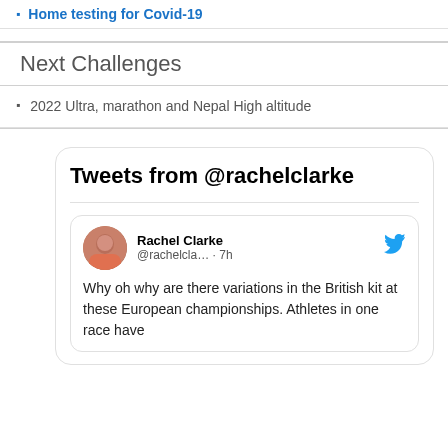Home testing for Covid-19
Next Challenges
2022 Ultra, marathon and Nepal High altitude
Tweets from @rachelclarke
Rachel Clarke @rachelcla… · 7h Why oh why are there variations in the British kit at these European championships. Athletes in one race have